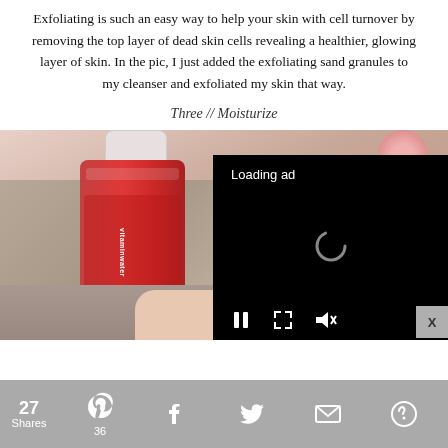Exfoliating is such an easy way to help your skin with cell turnover by removing the top layer of dead skin cells revealing a healthier, glowing layer of skin. In the pic, I just added the exfoliating sand granules to my cleanser and exfoliated my skin that way.
Three // Moisturize
[Figure (photo): Photo of a red vitaminwater bottle on a granite countertop with a hand visible, and a black ad overlay with 'Loading ad' text and video player controls including pause, fullscreen, and mute buttons. A close button (X) is visible in the corner.]
27 Shares | Pinterest (36) | Facebook | Twitter | Email | More